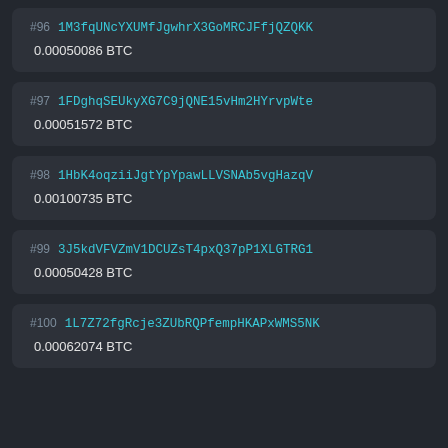#96 1M3fqUNcYXUMfJgwhrX3GoMRCJFfjQZQKK
0.00050086 BTC
#97 1FDghqSEUkyXG7C9jQNE15vHm2HYrvpWte
0.00051572 BTC
#98 1HbK4oqziiJgtYpYpawLLVSNAb5vgHazqV
0.00100735 BTC
#99 3J5kdVFVZmV1DCUZsT4pxQ37pP1XLGTRG1
0.00050428 BTC
#100 1L7Z72fgRcje3ZUbRQPfempHKAPxWMS5NK
0.00062074 BTC